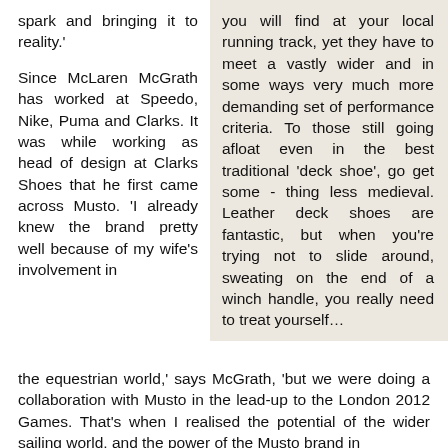spark and bringing it to reality.'
Since McLaren McGrath has worked at Speedo, Nike, Puma and Clarks. It was while working as head of design at Clarks Shoes that he first came across Musto. 'I already knew the brand pretty well because of my wife's involvement in
you will find at your local running track, yet they have to meet a vastly wider and in some ways very much more demanding set of performance criteria. To those still going afloat even in the best traditional 'deck shoe', go get some - thing less medieval. Leather deck shoes are fantastic, but when you're trying not to slide around, sweating on the end of a winch handle, you really need to treat yourself…
the equestrian world,' says McGrath, 'but we were doing a collaboration with Musto in the lead-up to the London 2012 Games. That's when I realised the potential of the wider sailing world, and the power of the Musto brand in